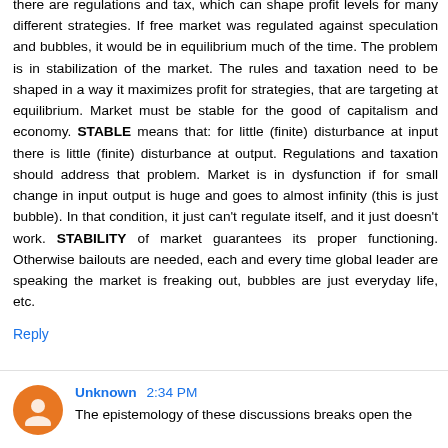there are regulations and tax, which can shape profit levels for many different strategies. If free market was regulated against speculation and bubbles, it would be in equilibrium much of the time. The problem is in stabilization of the market. The rules and taxation need to be shaped in a way it maximizes profit for strategies, that are targeting at equilibrium. Market must be stable for the good of capitalism and economy. STABLE means that: for little (finite) disturbance at input there is little (finite) disturbance at output. Regulations and taxation should address that problem. Market is in dysfunction if for small change in input output is huge and goes to almost infinity (this is just bubble). In that condition, it just can't regulate itself, and it just doesn't work. STABILITY of market guarantees its proper functioning. Otherwise bailouts are needed, each and every time global leader are speaking the market is freaking out, bubbles are just everyday life, etc.
Reply
Unknown 2:34 PM
The epistemology of these discussions breaks open the